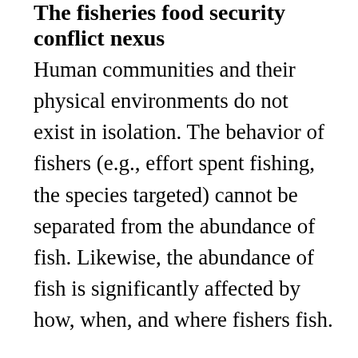The fisheries food security conflict nexus
Human communities and their physical environments do not exist in isolation. The behavior of fishers (e.g., effort spent fishing, the species targeted) cannot be separated from the abundance of fish. Likewise, the abundance of fish is significantly affected by how, when, and where fishers fish.